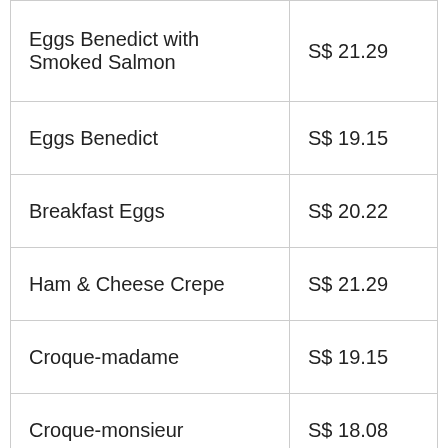| Item | Price |
| --- | --- |
| Eggs Benedict with Smoked Salmon | S$ 21.29 |
| Eggs Benedict | S$ 19.15 |
| Breakfast Eggs | S$ 20.22 |
| Ham & Cheese Crepe | S$ 21.29 |
| Croque-madame | S$ 19.15 |
| Croque-monsieur | S$ 18.08 |
| Avocado Brioche | S$ 19.15 |
| Scrambled Eggs Tartine | S$ 19.15 |